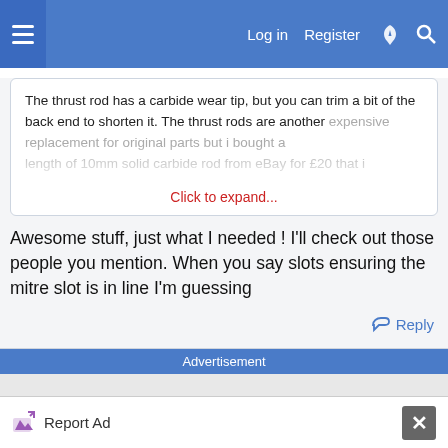Log in  Register
The thrust rod has a carbide wear tip, but you can trim a bit of the back end to shorten it. The thrust rods are another expensive replacement for original parts but i bought a length of 10mm solid carbide rod from eBay for £20 that i
Click to expand...
Awesome stuff, just what I needed ! I'll check out those people you mention. When you say slots ensuring the mitre slot is in line I'm guessing
Reply
Advertisement
Report Ad